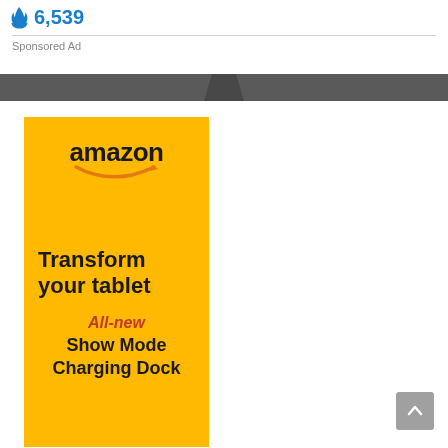🔥 6,539
Sponsored Ad
[Figure (screenshot): Amazon advertisement banner on yellow background showing Amazon logo with smile, text 'Transform your tablet', 'All-new', 'Show Mode Charging Dock']
Transform your tablet
All-new
Show Mode Charging Dock